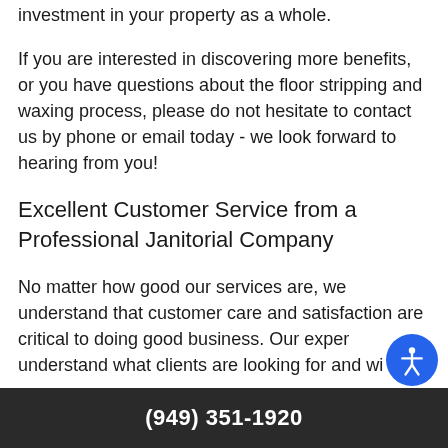investment in your property as a whole.
If you are interested in discovering more benefits, or you have questions about the floor stripping and waxing process, please do not hesitate to contact us by phone or email today - we look forward to hearing from you!
Excellent Customer Service from a Professional Janitorial Company
No matter how good our services are, we understand that customer care and satisfaction are critical to doing good business. Our exper... understand what clients are looking for and wi...
(949) 351-1920